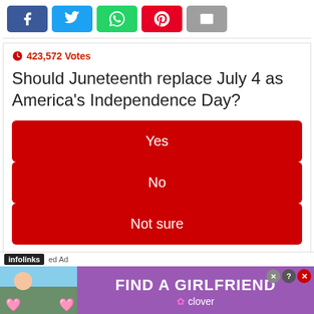[Figure (infographic): Social media share buttons: Facebook (blue), Twitter (light blue), WhatsApp (green), Pinterest (red), Email (grey)]
423,572 Votes
Should Juneteenth replace July 4 as America's Independence Day?
Yes
No
Not sure
[Figure (infographic): Advertisement banner: infolinks ad label with 'FIND A GIRLFRIEND' purple banner featuring woman photo and Clover dating app logo]